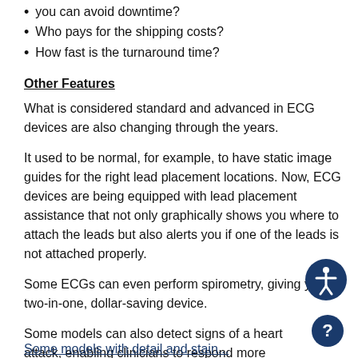you can avoid downtime?
Who pays for the shipping costs?
How fast is the turnaround time?
Other Features
What is considered standard and advanced in ECG devices are also changing through the years.
It used to be normal, for example, to have static image guides for the right lead placement locations. Now, ECG devices are being equipped with lead placement assistance that not only graphically shows you where to attach the leads but also alerts you if one of the leads is not attached properly.
Some ECGs can even perform spirometry, giving you a two-in-one, dollar-saving device.
Some models can also detect signs of a heart attack, enabling clinicians to respond more promptly and appropriately.
Some models with detail and stain...